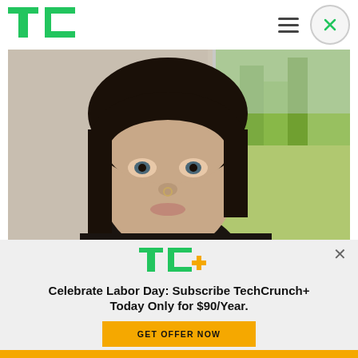TechCrunch navigation header with TC logo, hamburger menu, and close button
[Figure (photo): Close-up selfie photo of a young woman with dark hair and a black beret, wearing a black turtleneck, with a hoop nose ring, photographed near a window with green foliage visible outside]
[Figure (logo): TechCrunch TC+ logo in green with orange plus sign]
Celebrate Labor Day: Subscribe TechCrunch+ Today Only for $90/Year.
GET OFFER NOW